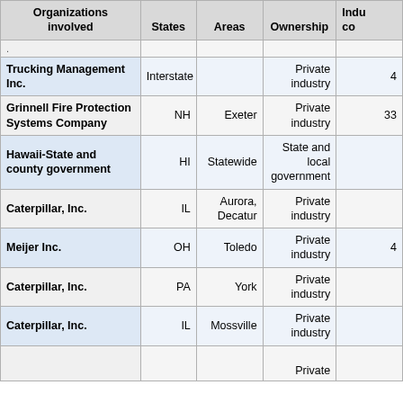| Organizations involved | States | Areas | Ownership | Indu co |
| --- | --- | --- | --- | --- |
| . |  |  |  |  |
| Trucking Management Inc. | Interstate |  | Private industry | 4 |
| Grinnell Fire Protection Systems Company | NH | Exeter | Private industry | 33 |
| Hawaii-State and county government | HI | Statewide | State and local government |  |
| Caterpillar, Inc. | IL | Aurora, Decatur | Private industry |  |
| Meijer Inc. | OH | Toledo | Private industry | 4 |
| Caterpillar, Inc. | PA | York | Private industry |  |
| Caterpillar, Inc. | IL | Mossville | Private industry |  |
|  |  |  | Private |  |